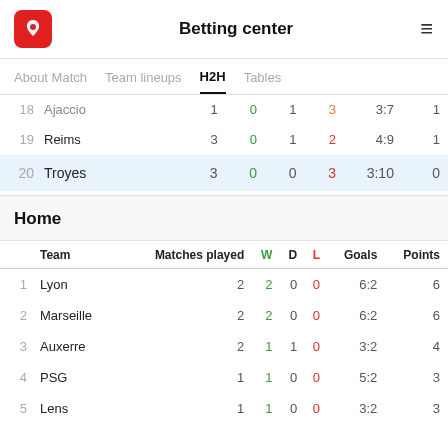Betting center
About Match  Team lineups  H2H  Tables
| # | Team | Matches played | W | D | L | Goals | Points |
| --- | --- | --- | --- | --- | --- | --- | --- |
| 18 | Ajaccio | 1 | 0 | 1 | 3 | 3:7 | 1 |
| 19 | Reims | 3 | 0 | 1 | 2 | 4:9 | 1 |
| 20 | Troyes | 3 | 0 | 0 | 3 | 3:10 | 0 |
Home
| # | Team | Matches played | W | D | L | Goals | Points |
| --- | --- | --- | --- | --- | --- | --- | --- |
| 1 | Lyon | 2 | 2 | 0 | 0 | 6:2 | 6 |
| 2 | Marseille | 2 | 2 | 0 | 0 | 6:2 | 6 |
| 3 | Auxerre | 2 | 1 | 1 | 0 | 3:2 | 4 |
| 4 | PSG | 1 | 1 | 0 | 0 | 5:2 | 3 |
| 5 | Lens | 1 | 1 | 0 | 0 | 3:2 | 3 |